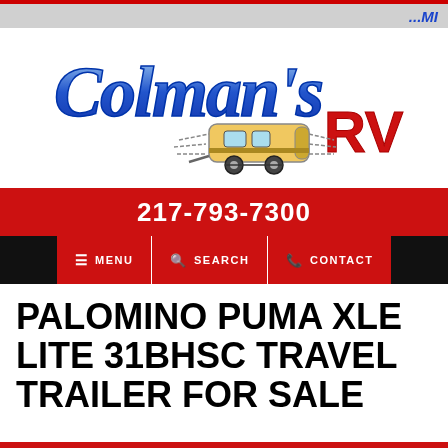...MI
[Figure (logo): Colman's RV logo with blue script text 'Colman's' and red bold 'RV', with a cartoon travel trailer illustration in the center]
217-793-7300
MENU  SEARCH  CONTACT
PALOMINO PUMA XLE LITE 31BHSC TRAVEL TRAILER FOR SALE